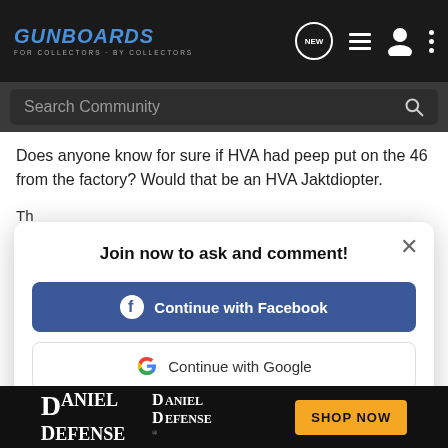GUNBOARDS FOR COLLECTORS · BY COLLECTORS
Search Community
Does anyone know for sure if HVA had peep put on the 46 from the factory? Would that be an HVA Jaktdiopter.
Th... fo... in... se... ap...
Join now to ask and comment!
Continue with Facebook
Continue with Google
or sign up with email
La...
Reply
[Figure (screenshot): Daniel Defense advertisement banner with logo and SHOP NOW button]